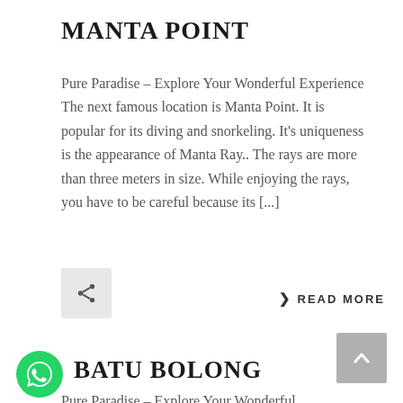MANTA POINT
Pure Paradise – Explore Your Wonderful Experience The next famous location is Manta Point. It is popular for its diving and snorkeling. It's uniqueness is the appearance of Manta Ray.. The rays are more than three meters in size. While enjoying the rays, you have to be careful because its [...]
[Figure (other): Share button icon with a less-than sign / share symbol on a grey square background]
❯ READ MORE
[Figure (other): Scroll-to-top button with an upward-pointing caret on a grey square background]
[Figure (other): WhatsApp circular green icon with phone handset logo]
BATU BOLONG
Pure Paradise – Explore Your Wonderful